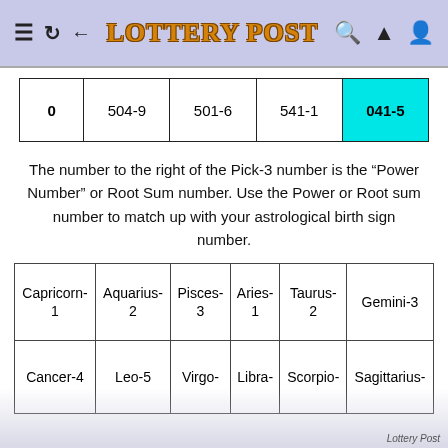LOTTERY POST
|  |  |  |  |  |
| --- | --- | --- | --- | --- |
| 0 | 504-9 | 501-6 | 541-1 | 041-5 |
The number to the right of the Pick-3 number is the “Power Number” or Root Sum number. Use the Power or Root sum number to match up with your astrological birth sign number.
| Capricorn-1 | Aquarius-2 | Pisces-3 | Aries-1 | Taurus-2 | Gemini-3 |
| --- | --- | --- | --- | --- | --- |
| Cancer-4 | Leo-5 | Virgo- | Libra- | Scorpio- | Sagittarius- |